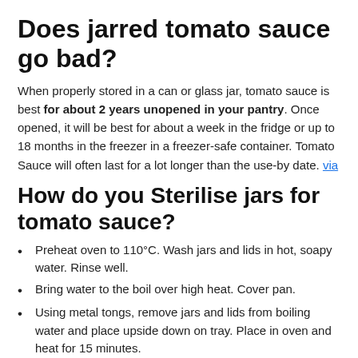Does jarred tomato sauce go bad?
When properly stored in a can or glass jar, tomato sauce is best for about 2 years unopened in your pantry. Once opened, it will be best for about a week in the fridge or up to 18 months in the freezer in a freezer-safe container. Tomato Sauce will often last for a lot longer than the use-by date. via
How do you Sterilise jars for tomato sauce?
Preheat oven to 110°C. Wash jars and lids in hot, soapy water. Rinse well.
Bring water to the boil over high heat. Cover pan.
Using metal tongs, remove jars and lids from boiling water and place upside down on tray. Place in oven and heat for 15 minutes.
via